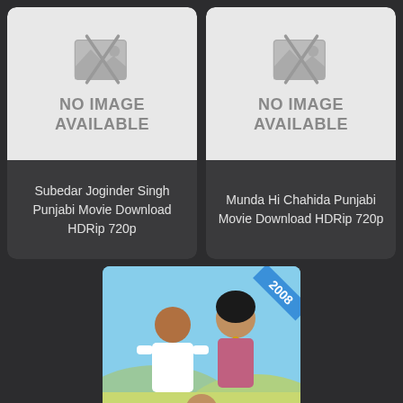[Figure (illustration): No image available placeholder card for Subedar Joginder Singh Punjabi Movie]
Subedar Joginder Singh Punjabi Movie Download HDRip 720p
[Figure (illustration): No image available placeholder card for Munda Hi Chahida Punjabi Movie]
Munda Hi Chahida Punjabi Movie Download HDRip 720p
[Figure (photo): Movie poster showing two people (man and woman) with a blue sky and fields background, with a year badge '2008' in the top right corner]